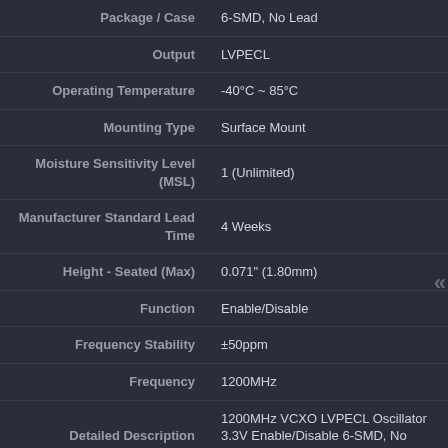| Attribute | Value |
| --- | --- |
| Package / Case | 6-SMD, No Lead |
| Output | LVPECL |
| Operating Temperature | -40°C ~ 85°C |
| Mounting Type | Surface Mount |
| Moisture Sensitivity Level (MSL) | 1 (Unlimited) |
| Manufacturer Standard Lead Time | 4 Weeks |
| Height - Seated (Max) | 0.071" (1.80mm) |
| Function | Enable/Disable |
| Frequency Stability | ±50ppm |
| Frequency | 1200MHz |
| Detailed Description | 1200MHz VCXO LVPECL Oscillator 3.3V Enable/Disable 6-SMD, No Lead |
| Current - Supply (Max) | 130mA |
| Current - Supply (Disable) (Max) | 75mA |